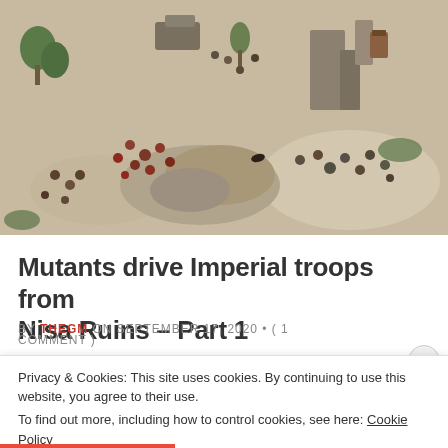[Figure (photo): Overhead/aerial view of a tabletop wargame scene with painted miniature figures on a terrain board featuring rocks, ruins, trees, and desert-like ground. Various factions of miniatures are positioned across the board.]
Mutants drive Imperial troops from Nisa Ruins – Part 1
BY THEGM ON SEPTEMBER 17, 2020 • ( 1 COMMENT )
Privacy & Cookies: This site uses cookies. By continuing to use this website, you agree to their use.
To find out more, including how to control cookies, see here: Cookie Policy
Close and accept